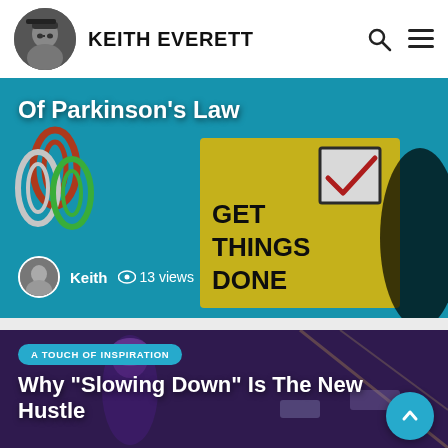KEITH EVERETT
[Figure (photo): Article card showing sticky notes with 'GET THINGS DONE' text, with title overlay about Parkinson's Law, author Keith, 13 views]
Of Parkinson’s Law
Keith  13 views
[Figure (photo): Article card with woman with purple hair in city, category tag 'A TOUCH OF INSPIRATION']
Why “Slowing Down” Is The New Hustle